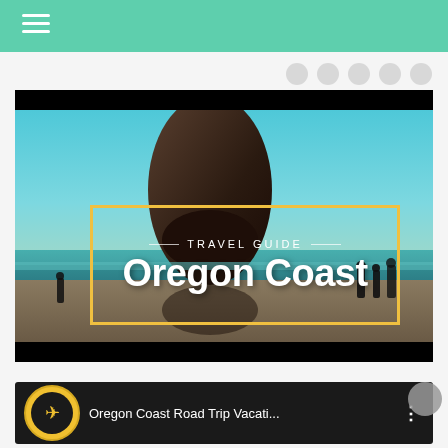Navigation bar with hamburger menu
[Figure (screenshot): Travel guide video thumbnail showing Oregon Coast beach scene with Haystack Rock, with overlay text 'TRAVEL GUIDE — Oregon Coast' in a gold border box on a dark beach/ocean background]
Oregon Coast Road Trip Vacati...